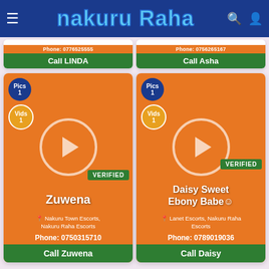nakuru Raha
Phone: 0776525555 | Call LINDA
Phone: 0756265167 | Call Asha
Zuwena — Nakuru Town Escorts, Nakuru Raha Escorts — Phone: 0750315710 — Call Zuwena — VERIFIED
Daisy Sweet Ebony Babe☺ — Lanet Escorts, Nakuru Raha Escorts — Phone: 0789019036 — Call Daisy — VERIFIED